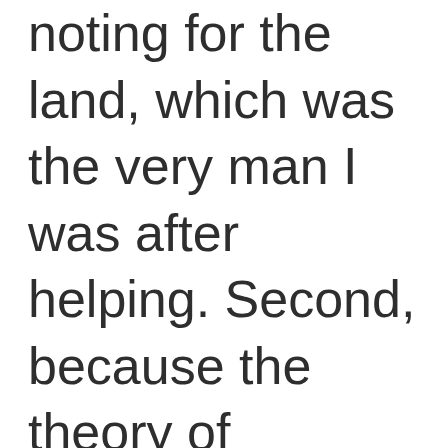noting for the land, which was the very man I was after helping. Second, because the theory of economic rent